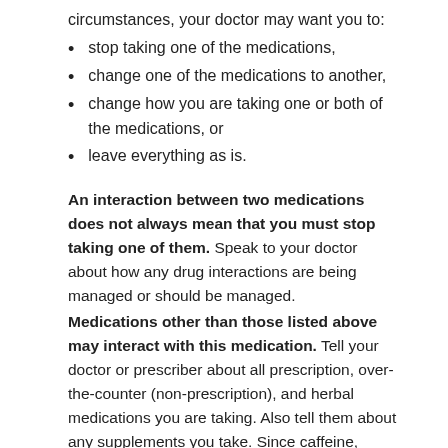circumstances, your doctor may want you to:
stop taking one of the medications,
change one of the medications to another,
change how you are taking one or both of the medications, or
leave everything as is.
An interaction between two medications does not always mean that you must stop taking one of them. Speak to your doctor about how any drug interactions are being managed or should be managed.
Medications other than those listed above may interact with this medication. Tell your doctor or prescriber about all prescription, over-the-counter (non-prescription), and herbal medications you are taking. Also tell them about any supplements you take. Since caffeine, alcohol, the nicotine from cigarettes, or street drugs can affect the action of many medications, you should let your prescriber know if you use